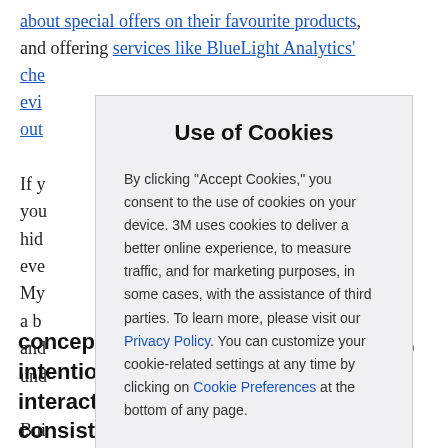about special offers on their favourite products, and offering services like BlueLight Analytics' che... evi... al out...
If y... you hid eve. My As a b er and und...
Use of Cookies
By clicking "Accept Cookies," you consent to the use of cookies on your device. 3M uses cookies to deliver a better online experience, to measure traffic, and for marketing purposes, in some cases, with the assistance of third parties. To learn more, please visit our Privacy Policy. You can customize your cookie-related settings at any time by clicking on Cookie Preferences at the bottom of any page.
Bui... concept. It comes down to thoughtful, intentional interactions that build trust through consistency.